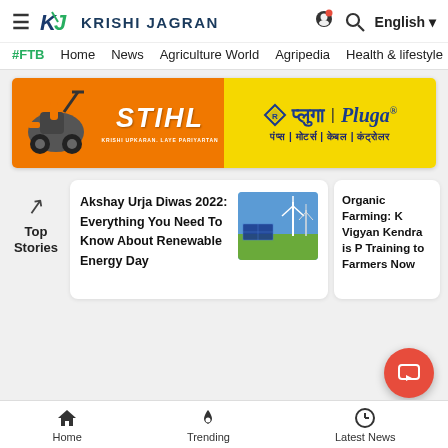Krishi Jagran - #FTB Home News Agriculture World Agripedia Health & lifestyle - English
[Figure (screenshot): Advertisement banner with STIHL brand on orange background with farming machine image, and Pluga brand on yellow background with Hindi text: पंप्स | मोटर्स | केबल | कंट्रोलर]
Top Stories
Akshay Urja Diwas 2022: Everything You Need To Know About Renewable Energy Day
[Figure (photo): Photo of solar panels and wind turbines in a field]
Organic Farming: K Vigyan Kendra is P Training to Farmers Now
Home   Trending   Latest News